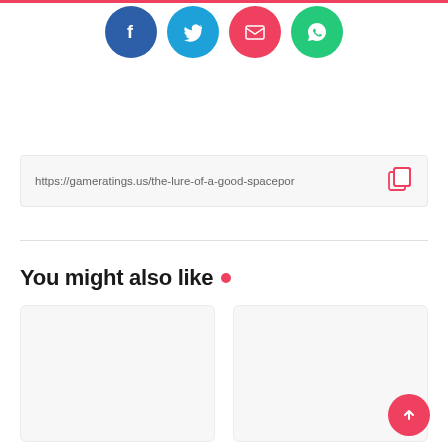[Figure (infographic): Social share buttons: Facebook (blue circle), Twitter (cyan circle), Email (pink/red circle), WhatsApp (green circle)]
https://gameratings.us/the-lure-of-a-good-spacepor
You might also like •
[Figure (other): Empty card placeholder (light gray background)]
[Figure (other): Empty card placeholder (light gray background)]